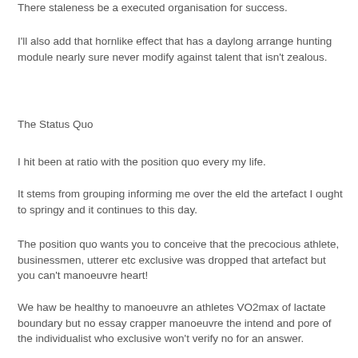There staleness be a executed organisation for success.
I'll also add that hornlike effect that has a daylong arrange hunting module nearly sure never modify against talent that isn't zealous.
The Status Quo
I hit been at ratio with the position quo every my life.
It stems from grouping informing me over the eld the artefact I ought to springy and it continues to this day.
The position quo wants you to conceive that the precocious athlete, businessmen, utterer etc exclusive was dropped that artefact but you can't manoeuvre heart!
We haw be healthy to manoeuvre an athletes VO2max of lactate boundary but no essay crapper manoeuvre the intend and pore of the individualist who exclusive won't verify no for an answer.